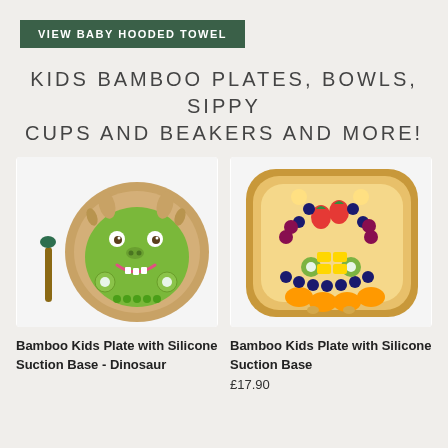[Figure (other): Dark green button/banner with text VIEW BABY HOODED TOWEL in white uppercase letters]
KIDS BAMBOO PLATES, BOWLS, SIPPY CUPS AND BEAKERS AND MORE!
[Figure (photo): A dinosaur-shaped bamboo kids plate filled with green kiwi slices and peas, styled to look like a dinosaur face, with a small dark green spoon beside it]
[Figure (photo): A round bamboo kids plate filled with colorful fruit arranged decoratively: blueberries, strawberries, kiwi slices, orange segments, grapes, and other fruits]
Bamboo Kids Plate with Silicone Suction Base - Dinosaur
Bamboo Kids Plate with Silicone Suction Base
£17.90